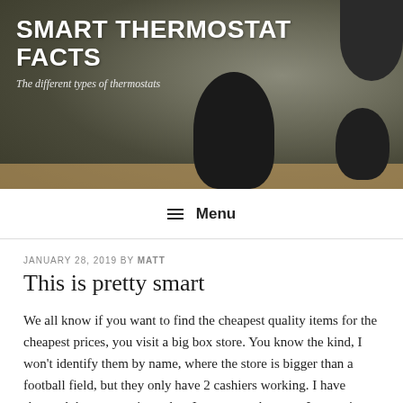[Figure (photo): Hero banner image showing potted plants on a wooden surface with blurred background. Dark round plant pots visible including a cactus-type plant.]
SMART THERMOSTAT FACTS
The different types of thermostats
≡ Menu
JANUARY 28, 2019 BY MATT
This is pretty smart
We all know if you want to find the cheapest quality items for the cheapest prices, you visit a big box store. You know the kind, I won't identify them by name, where the store is bigger than a football field, but they only have 2 cashiers working. I have shopped there more times than I can count, but now I am trying to do my best and support local businesses. A self run company can give you